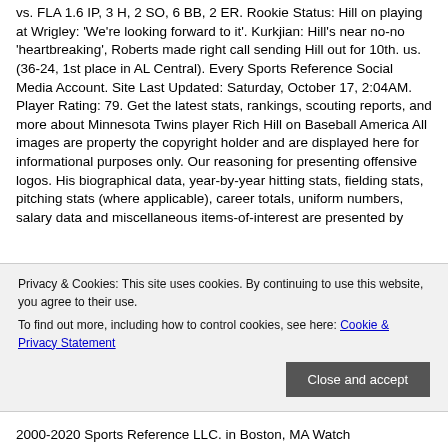vs. FLA 1.6 IP, 3 H, 2 SO, 6 BB, 2 ER. Rookie Status: Hill on playing at Wrigley: 'We're looking forward to it'. Kurkjian: Hill's near no-no 'heartbreaking', Roberts made right call sending Hill out for 10th. us. (36-24, 1st place in AL Central). Every Sports Reference Social Media Account. Site Last Updated: Saturday, October 17, 2:04AM. Player Rating: 79. Get the latest stats, rankings, scouting reports, and more about Minnesota Twins player Rich Hill on Baseball America All images are property the copyright holder and are displayed here for informational purposes only. Our reasoning for presenting offensive logos. His biographical data, year-by-year hitting stats, fielding stats, pitching stats (where applicable), career totals, uniform numbers, salary data and miscellaneous items-of-interest are presented by
Privacy & Cookies: This site uses cookies. By continuing to use this website, you agree to their use.
To find out more, including how to control cookies, see here: Cookie & Privacy Statement
2000-2020 Sports Reference LLC. in Boston, MA Watch